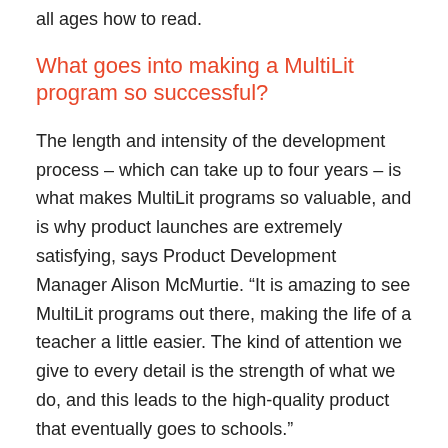all ages how to read.
What goes into making a MultiLit program so successful?
The length and intensity of the development process – which can take up to four years – is what makes MultiLit programs so valuable, and is why product launches are extremely satisfying, says Product Development Manager Alison McMurtie. “It is amazing to see MultiLit programs out there, making the life of a teacher a little easier. The kind of attention we give to every detail is the strength of what we do, and this leads to the high-quality product that eventually goes to schools.”
All of MultiLit’s programs and resources are the result of a lengthy process of research and development, starting with a robust rationale for the basis of the program which